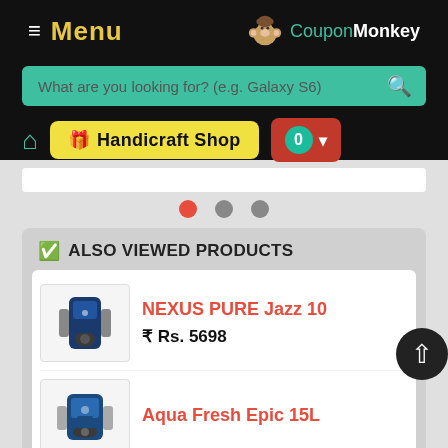≡ Menu  CouponMonkey
What are you looking for? (e.g. Galaxy S6)
🏠 Handicraft Shop  0 ▾
● ● ●
✅ ALSO VIEWED PRODUCTS
NEXUS PURE Jazz 10
₹ Rs. 5698
Aqua Fresh Epic 15L